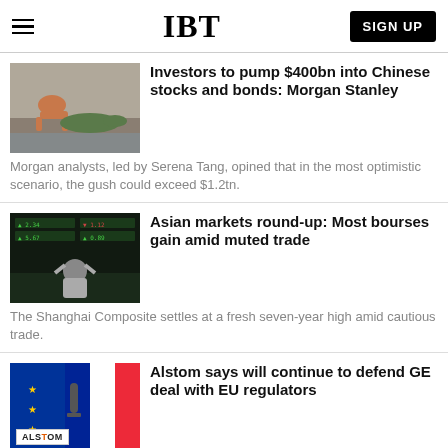IBT | SIGN UP
Investors to pump $400bn into Chinese stocks and bonds: Morgan Stanley
Morgan analysts, led by Serena Tang, opined that in the most optimistic scenario, the gush could exceed $1.2tn.
Asian markets round-up: Most bourses gain amid muted trade
The Shanghai Composite settles at a fresh seven-year high amid cautious trade.
Alstom says will continue to defend GE deal with EU regulators
GE confident of closing the £12.4bn deal